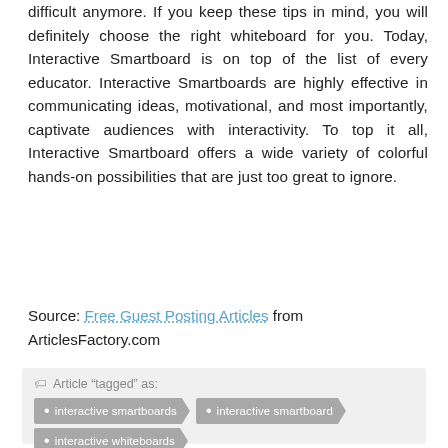difficult anymore. If you keep these tips in mind, you will definitely choose the right whiteboard for you. Today, Interactive Smartboard is on top of the list of every educator. Interactive Smartboards are highly effective in communicating ideas, motivational, and most importantly, captivate audiences with interactivity. To top it all, Interactive Smartboard offers a wide variety of colorful hands-on possibilities that are just too great to ignore.
Source: Free Guest Posting Articles from ArticlesFactory.com
Article "tagged" as: interactive smartboards • interactive smartboard • interactive whiteboards
Categories: Computers